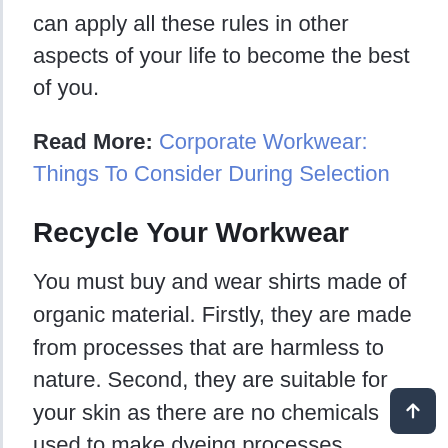can apply all these rules in other aspects of your life to become the best of you.
Read More: Corporate Workwear: Things To Consider During Selection
Recycle Your Workwear
You must buy and wear shirts made of organic material. Firstly, they are made from processes that are harmless to nature. Second, they are suitable for your skin as there are no chemicals used to make dyeing processes. Recycling does not mean that you cut your clothes and make them into another set of clothi…